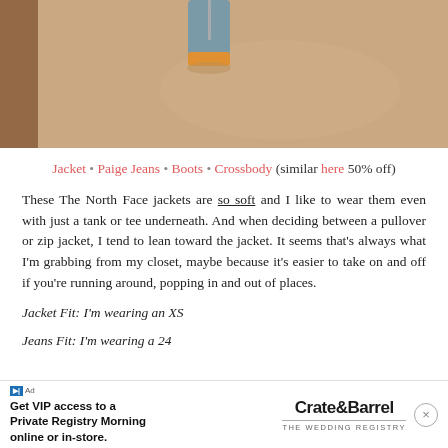[Figure (photo): Photo of boots/shoe on a beige carpet, partial view from above]
Jacket • Paige Jeans • Boots • Crossbody (similar here 50% off)
These The North Face jackets are so soft and I like to wear them even with just a tank or tee underneath. And when deciding between a pullover or zip jacket, I tend to lean toward the jacket. It seems that's always what I'm grabbing from my closet, maybe because it's easier to take on and off if you're running around, popping in and out of places.
Jacket Fit: I'm wearing an XS
Jeans Fit: I'm wearing a 24
[Figure (screenshot): Advertisement banner: Crate & Barrel - Get VIP access to a Private Registry Morning online or in-store. THE WEDDING REGISTRY]